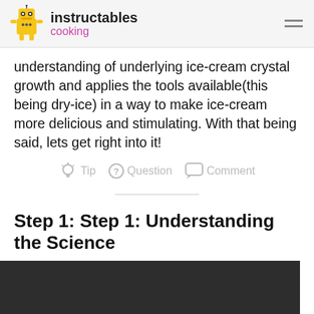instructables cooking
understanding of underlying ice-cream crystal growth and applies the tools available(this being dry-ice) in a way to make ice-cream more delicious and stimulating. With that being said, lets get right into it!
Tip   Question   Comment
Step 1: Step 1: Understanding the Science
[Figure (photo): Dark background image, likely a photo related to ice cream science]